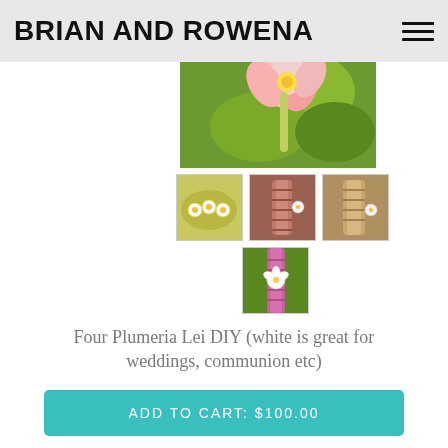BRIAN AND ROWENA
[Figure (photo): Main product photo showing plumeria flowers on green fabric background]
[Figure (photo): Thumbnail 1: daisy lei on green background]
[Figure (photo): Thumbnail 2: pink braided satin lei]
[Figure (photo): Thumbnail 3: tan/gold braided lei]
[Figure (photo): Thumbnail 4: white plumeria on pink ribbon lei with green background]
Four Plumeria Lei DIY (white is great for weddings, communion etc)
ADD TO CART: $100.00
Make FOUR Plumeria Ribbon Satin Lei. Lei your Valentine and yourself at the same time! It's easy to make, it just takes time. It takes anywhere from 2-3 hours to finish. It's approximately 39 inches in length